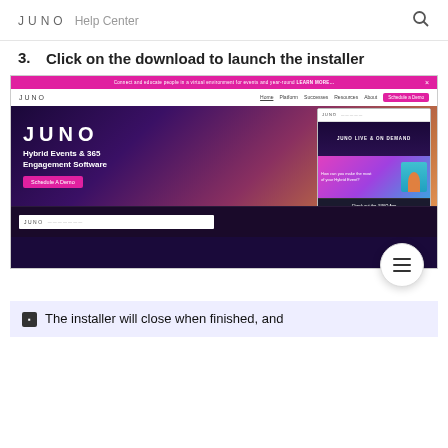JUNO Help Center
3. Click on the download to launch the installer
[Figure (screenshot): Screenshot of the JUNO website homepage showing the Hybrid Events & 365 Engagement Software banner, navigation bar, and overlay cards. Below it is a partial screenshot of a browser window showing JUNO app.]
The installer will close when finished, and